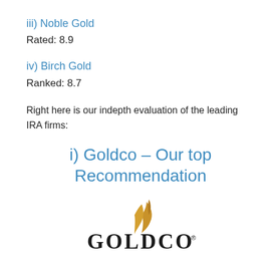iii) Noble Gold
Rated: 8.9
iv) Birch Gold
Ranked: 8.7
Right here is our indepth evaluation of the leading IRA firms:
i) Goldco – Our top Recommendation
[Figure (logo): Goldco logo with golden flame/leaf mark above the text GOLDCO in bold black serif letters with a registered trademark symbol]